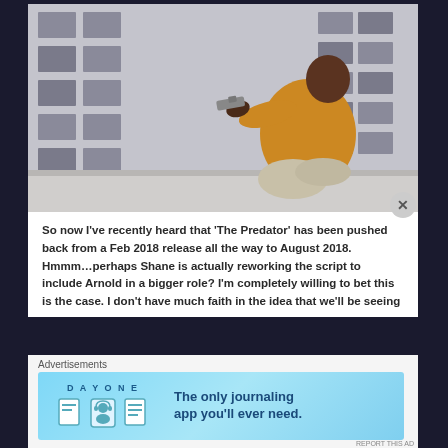[Figure (photo): A Black man in a yellow/orange shirt crouching on a rooftop ledge pointing a gun toward the camera, with a large building with grid windows in the background. Movie still from The Predator.]
So now I've recently heard that 'The Predator' has been pushed back from a Feb 2018 release all the way to August 2018. Hmmm…perhaps Shane is actually reworking the script to include Arnold in a bigger role? I'm completely willing to bet this is the case. I don't have much faith in the idea that we'll be seeing
Advertisements
[Figure (screenshot): DAY ONE journaling app advertisement. Light blue background with DAY ONE logo text, three icons (notebook, person with headset, document), and text 'The only journaling app you'll ever need.']